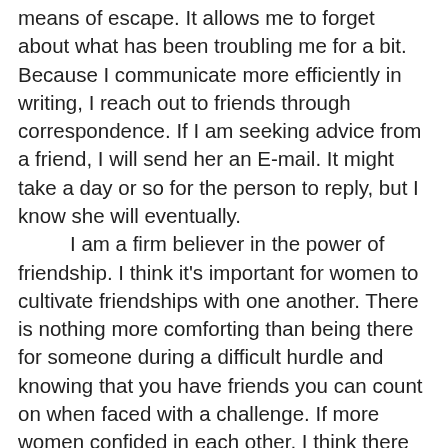means of escape. It allows me to forget about what has been troubling me for a bit. Because I communicate more efficiently in writing, I reach out to friends through correspondence. If I am seeking advice from a friend, I will send her an E-mail. It might take a day or so for the person to reply, but I know she will eventually. I am a firm believer in the power of friendship. I think it's important for women to cultivate friendships with one another. There is nothing more comforting than being there for someone during a difficult hurdle and knowing that you have friends you can count on when faced with a challenge. If more women confided in each other, I think there would be less of a need for therapists. I have never been a supporter of psychiatry. If you feel speaking to someone will aid you in solving a problem, there isn't any reason you should rule out trusting those you care about for advice. I am sure they would be glad to offer whatever assistance they could. The wonderful thing about music is that different styles can evoke certain moods. Hearing a special song has the power to bring back so many cherished memories. I will play something I really enjoy whenever I've had an extremely busy day and need to unwind. The pleasure I derive from